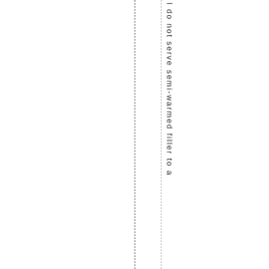I do not serve semi-warmed filler to a
[Figure (other): Two vertical dashed lines running the full height of the page, one darker on the left and one lighter/thinner on the right]